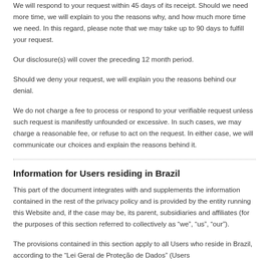We will respond to your request within 45 days of its receipt. Should we need more time, we will explain to you the reasons why, and how much more time we need. In this regard, please note that we may take up to 90 days to fulfill your request.
Our disclosure(s) will cover the preceding 12 month period.
Should we deny your request, we will explain you the reasons behind our denial.
We do not charge a fee to process or respond to your verifiable request unless such request is manifestly unfounded or excessive. In such cases, we may charge a reasonable fee, or refuse to act on the request. In either case, we will communicate our choices and explain the reasons behind it.
Information for Users residing in Brazil
This part of the document integrates with and supplements the information contained in the rest of the privacy policy and is provided by the entity running this Website and, if the case may be, its parent, subsidiaries and affiliates (for the purposes of this section referred to collectively as “we”, “us”, “our”).
The provisions contained in this section apply to all Users who reside in Brazil, according to the “Lei Geral de Proteção de Dados” (Users